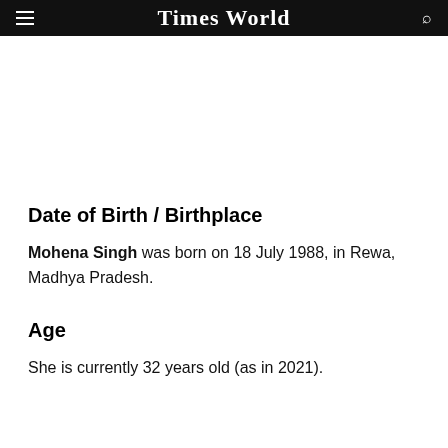Times World
Date of Birth / Birthplace
Mohena Singh was born on 18 July 1988, in Rewa, Madhya Pradesh.
Age
She is currently 32 years old (as in 2021).